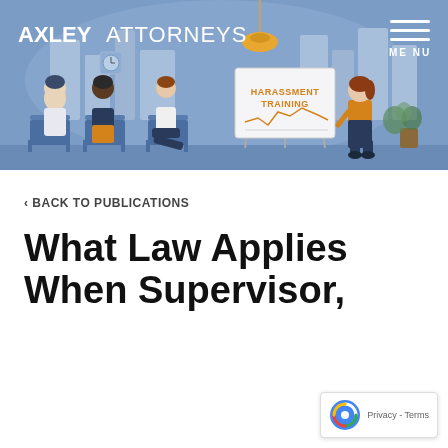AXLEY ATTORNEYS
[Figure (illustration): Flat vector illustration of a harassment training session: three seated employees (two male, one female) facing a female presenter standing next to a flip chart labeled 'HARASSMENT TRAINING', set in an office with plants and city skyline backdrop, blue/orange color palette.]
‹ BACK TO PUBLICATIONS
What Law Applies When Supervisor,